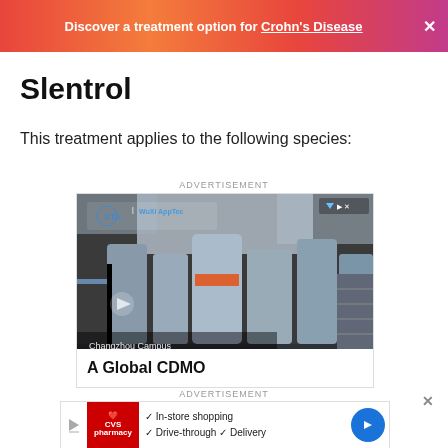Discover a treatment option for Crohn's Disease ×
Slentrol
This treatment applies to the following species:
ADVERTISEMENT
[Figure (photo): Industrial pharmaceutical/CDMO manufacturing facility with bioreactors and equipment. Logos for STA and WuXi AppTec visible. Text overlay: Changzhou Campus, New Oligonucleotide & Peptide Manufacturing Facility. Headline: A Global CDMO]
ADVERTISEMENT
[Figure (photo): CVS Pharmacy advertisement showing logo, checkmarks for In-store shopping, Drive-through, Delivery, and a blue navigation arrow icon]